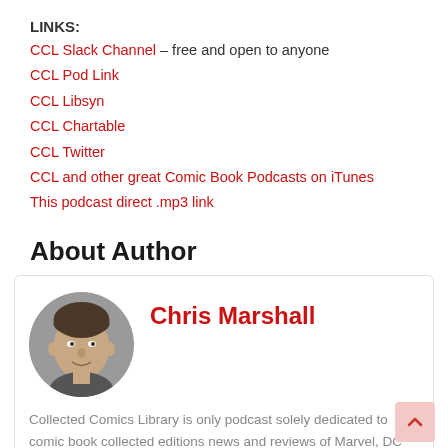LINKS:
CCL Slack Channel – free and open to anyone
CCL Pod Link
CCL Libsyn
CCL Chartable
CCL Twitter
CCL and other great Comic Book Podcasts on iTunes
This podcast direct .mp3 link
About Author
[Figure (photo): Circular headshot photo of Chris Marshall, a man in his middle years.]
Chris Marshall
Collected Comics Library is only podcast solely dedicated to comic book collected editions news and reviews of Marvel, DC and independent TPBs and HCs.